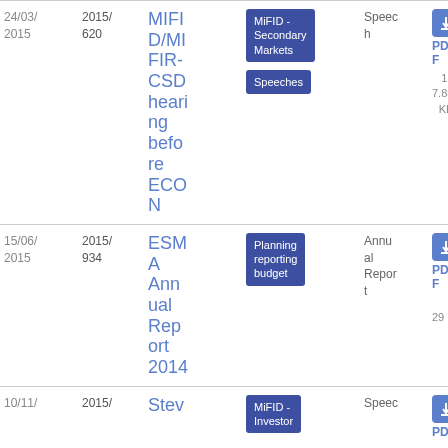| Date | Ref | Title | Tags | Type | PDF |
| --- | --- | --- | --- | --- | --- |
| 24/03/2015 | 2015/620 | MIFID/MIFIR-CSD hearing before ECON | MiFID - Secondary Markets, Speeches | Speech | PDF 117.88 KB |
| 15/06/2015 | 2015/934 | ESMA Annual Report 2014 | Planning reporting budget | Annual Report | PDF 2.29 MB |
| 10/11/ | 2015/ | Stev... | MiFID - Investor... | Speec... | PD... |